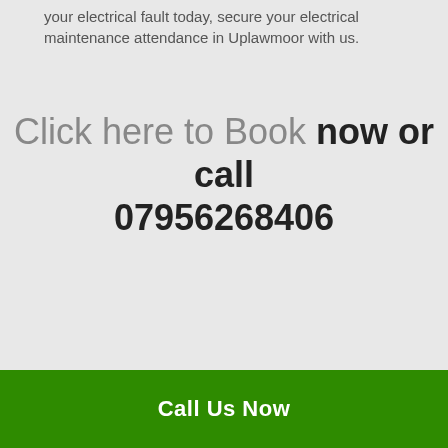your electrical fault today, secure your electrical maintenance attendance in Uplawmoor with us.
Click here to Book now or call 07956268406
Call Us Now